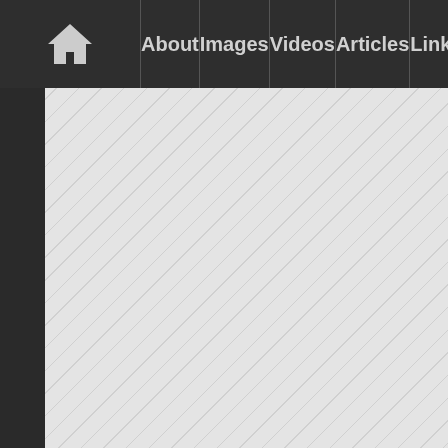Home | About | Images | Videos | Articles | Links
[Figure (screenshot): Left dark sidebar panel and center diagonal striped gray background image area of a website]
are not far behind.
Interestingly, few buzz about Facebook whether many sc instruction.
There are arguab students, and ma of such websites untapped resourc
What do you see
Technolog
Comp